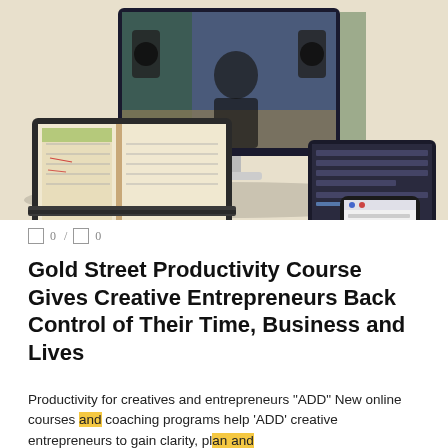[Figure (photo): Composite image showing a desktop monitor with a man in a dark blazer standing in a studio, a laptop showing an open notebook/planner, a dark tablet with a form/checklist interface, and a smartphone with an app screen. All devices are arranged together on a light beige surface.]
0 / 0
Gold Street Productivity Course Gives Creative Entrepreneurs Back Control of Their Time, Business and Lives
Productivity for creatives and entrepreneurs "ADD" New online courses and coaching programs help 'ADD' creative entrepreneurs to gain clarity, plan and